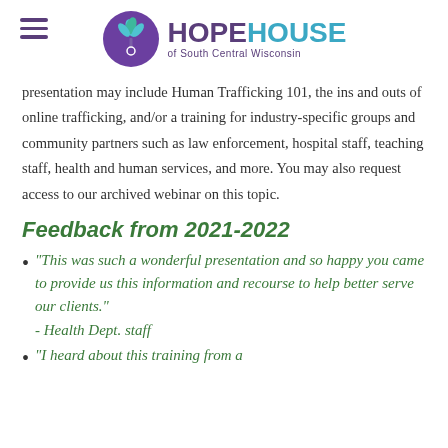Hope House of South Central Wisconsin
presentation may include Human Trafficking 101, the ins and outs of online trafficking, and/or a training for industry-specific groups and community partners such as law enforcement, hospital staff, teaching staff, health and human services, and more. You may also request access to our archived webinar on this topic.
Feedback from 2021-2022
"This was such a wonderful presentation and so happy you came to provide us this information and recourse to help better serve our clients." - Health Dept. staff
"I heard about this training from a